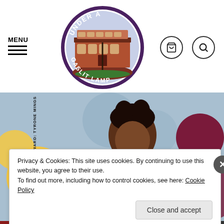[Figure (logo): Under A Gaslit Lamp circular logo featuring a Victorian football stadium and gas lamp illustration, with purple border and maroon/dark red text.]
MENU
[Figure (photo): Magazine cover showing a footballer in a maroon and white kit against a colourful dotted background of yellow, blue and maroon circles.]
Privacy & Cookies: This site uses cookies. By continuing to use this website, you agree to their use.
To find out more, including how to control cookies, see here: Cookie Policy
Close and accept